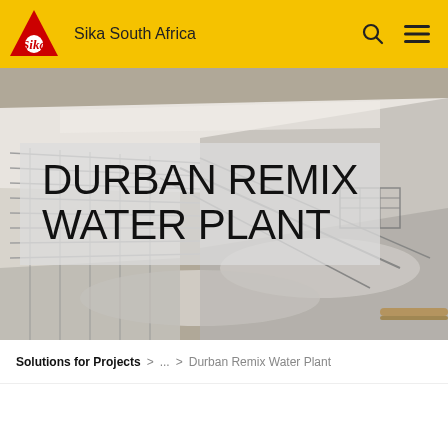Sika South Africa
[Figure (photo): Aerial/overhead view of a water treatment plant concrete tank with reinforcement bars and white coated surfaces]
DURBAN REMIX WATER PLANT
Solutions for Projects > ... > Durban Remix Water Plant